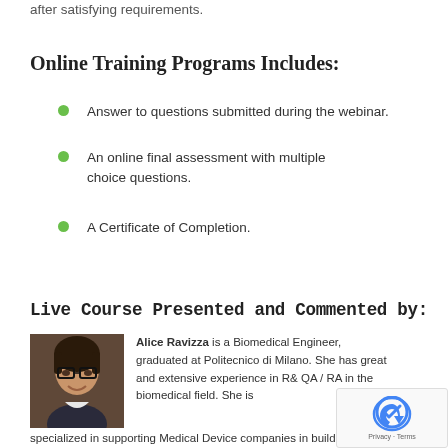after satisfying requirements.
Online Training Programs Includes:
Answer to questions submitted during the webinar.
An online final assessment with multiple choice questions.
A Certificate of Completion.
Live Course Presented and Commented by:
[Figure (photo): Headshot photo of Alice Ravizza, a woman with dark hair and glasses, smiling]
Alice Ravizza is a Biomedical Engineer, graduated at Politecnico di Milano. She has great and extensive experience in R& QA / RA in the biomedical field. She is specialized in supporting Medical Device companies in building